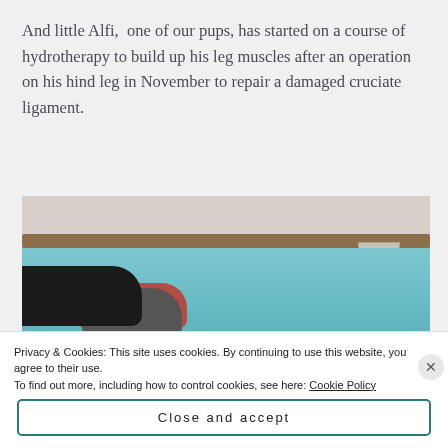And little Alfi,  one of our pups, has started on a course of hydrotherapy to build up his leg muscles after an operation on his hind leg in November to repair a damaged cruciate ligament.
[Figure (photo): A person in black clothing is at the edge of a hydrotherapy pool, holding or supporting a dog wearing a red harness in the water. The pool has blue-green water and a wooden ledge.]
Privacy & Cookies: This site uses cookies. By continuing to use this website, you agree to their use.
To find out more, including how to control cookies, see here: Cookie Policy
Close and accept